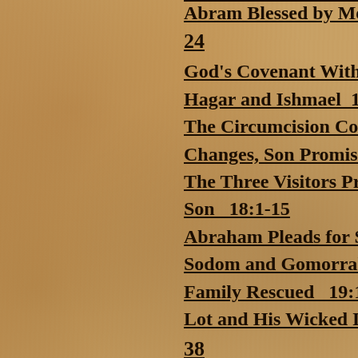Abram Blessed by Melc…
24
God's Covenant With A…
Hagar and Ishmael  16:…
The Circumcision Cove…
Changes, Son Promised…
The Three Visitors Prom…
Son  18:1-15
Abraham Pleads for Sod…
Sodom and Gomorrah D…
Family Rescued  19:1-…
Lot and His Wicked Da…
38